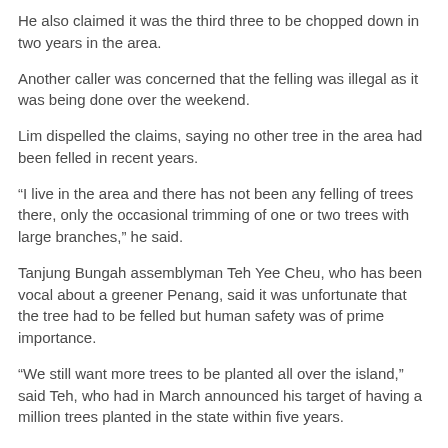He also claimed it was the third three to be chopped down in two years in the area.
Another caller was concerned that the felling was illegal as it was being done over the weekend.
Lim dispelled the claims, saying no other tree in the area had been felled in recent years.
“I live in the area and there has not been any felling of trees there, only the occasional trimming of one or two trees with large branches,” he said.
Tanjung Bungah assemblyman Teh Yee Cheu, who has been vocal about a greener Penang, said it was unfortunate that the tree had to be felled but human safety was of prime importance.
“We still want more trees to be planted all over the island,” said Teh, who had in March announced his target of having a million trees planted in the state within five years.